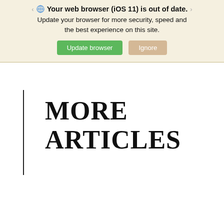Your web browser (iOS 11) is out of date. Update your browser for more security, speed and the best experience on this site. [Update browser] [Ignore]
MORE ARTICLES